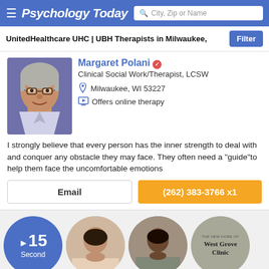Psychology Today
UnitedHealthcare UHC | UBH Therapists in Milwaukee,
[Figure (photo): Profile photo of Margaret Polani, an older woman with glasses, short gray hair, wearing a blue jacket, smiling]
Margaret Polani
Clinical Social Work/Therapist, LCSW
Milwaukee, WI 53227
Offers online therapy
I strongly believe that every person has the inner strength to deal with and conquer any obstacle they may face. They often need a "guide"to help them face the uncomfortable emotions
Email
(262) 383-3766 x1
[Figure (other): Blue circle with play icon, number 15, and text 'Second']
[Figure (photo): Circular profile photo of a woman with dark hair]
[Figure (photo): Circular profile photo of a person]
[Figure (logo): West Grove Clinic logo in a gray circle with text 'THE NEW HOME OF WEST GROVE CLINIC']